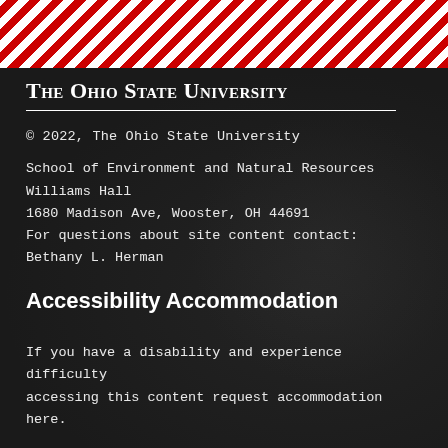[Figure (illustration): Red and white diagonal stripe banner/header pattern at the top of the page]
The Ohio State University
© 2022, The Ohio State University
School of Environment and Natural Resources
Williams Hall
1680 Madison Ave, Wooster, OH 44691
For questions about site content contact:
Bethany L. Herman
Accessibility Accommodation
If you have a disability and experience difficulty accessing this content request accommodation here.
M...